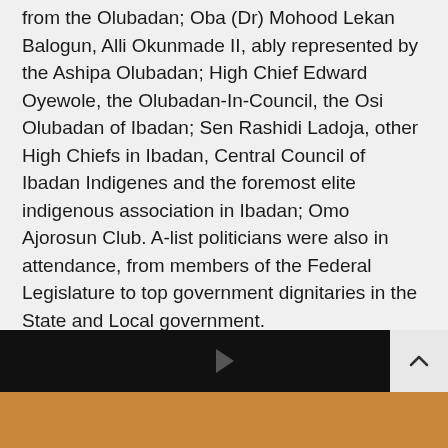from the Olubadan; Oba (Dr) Mohood Lekan Balogun, Alli Okunmade II, ably represented by the Ashipa Olubadan; High Chief Edward Oyewole, the Olubadan-In-Council, the Osi Olubadan of Ibadan; Sen Rashidi Ladoja, other High Chiefs in Ibadan, Central Council of Ibadan Indigenes and the foremost elite indigenous association in Ibadan; Omo Ajorosun Club. A-list politicians were also in attendance, from members of the Federal Legislature to top government dignitaries in the State and Local government.
The Mini Mapo hall, takes after the ancient Mapo hall in nearly all facets, the gigantic structure (though slightly miniature), cannot be missed from any point of approach to the Ibadan South West Local Government Secretariat. Presenting in front with